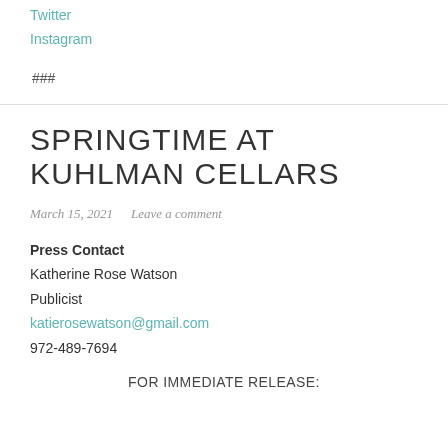Twitter
Instagram
###
SPRINGTIME AT KUHLMAN CELLARS
March 15, 2021   Leave a comment
Press Contact
Katherine Rose Watson
Publicist
katierosewatson@gmail.com
972-489-7694
FOR IMMEDIATE RELEASE: